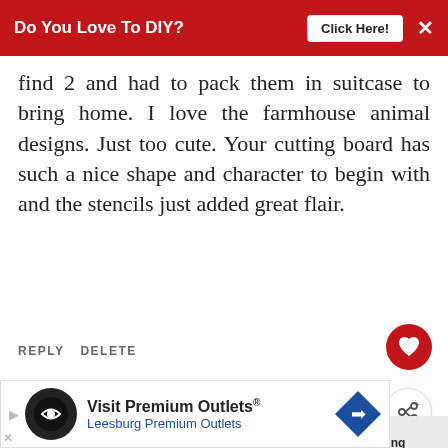Do You Love To DIY?  Click Here!
find 2 and had to pack them in suitcase to bring home. I love the farmhouse animal designs. Just too cute. Your cutting board has such a nice shape and character to begin with and the stencils just added great flair.
REPLY  DELETE
Debbie - Mountain Mama
FEBRUARY 11, 2019 AT 3:21 PM
Adorable, Kim!! That cutting board would be right at home in my
[Figure (other): Bottom advertisement banner: Visit Premium Outlets® Leesburg Premium Outlets with logo icons]
[Figure (other): What's Next widget showing Let It Snow Cutting Board]